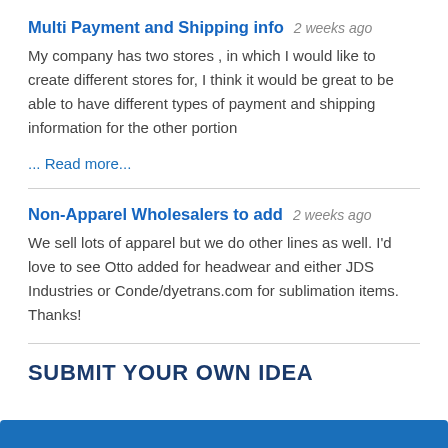Multi Payment and Shipping info  2 weeks ago
My company has two stores , in which I would like to create different stores for, I think it would be great to be able to have different types of payment and shipping information for the other portion
... Read more...
Non-Apparel Wholesalers to add  2 weeks ago
We sell lots of apparel but we do other lines as well. I'd love to see Otto added for headwear and either JDS Industries or Conde/dyetrans.com for sublimation items. Thanks!
SUBMIT YOUR OWN IDEA